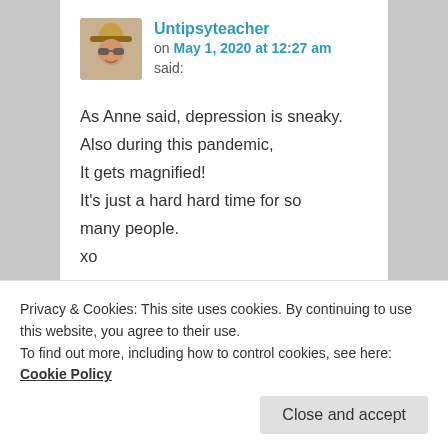Untipsyteacher on May 1, 2020 at 12:27 am said:
As Anne said, depression is sneaky. Also during this pandemic, It gets magnified!
It's just a hard hard time for so many people.
xo
★ Liked by 1 person
Privacy & Cookies: This site uses cookies. By continuing to use this website, you agree to their use.
To find out more, including how to control cookies, see here: Cookie Policy
Close and accept